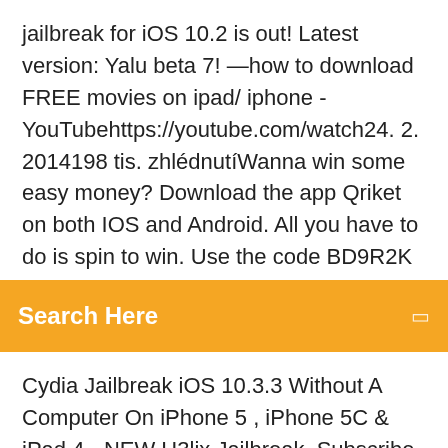jailbreak for iOS 10.2 is out! Latest version: Yalu beta 7! —how to download FREE movies on ipad/ iphone - YouTubehttps://youtube.com/watch24. 2. 2014198 tis. zhlédnutíWanna win some easy money? Download the app Qriket on both IOS and Android. All you have to do is spin to win. Use the code BD9R2K to get 25 Qriket Spins wheNEW How To
Search Here
Cydia Jailbreak iOS 10.3.3 Without A Computer On iPhone 5 , iPhone 5C & iPad 4 - NEW H3lix Jailbreak. Subscribe, Like & Share. Thanks :") NEW Download and Install MovieBox on iOS (iPhone and iPad)https://techxoom.com/download-install-moviebox-iosDownload Moviebox iOS App. MovieBox is an incredibly famous iOS app that gives the user access to thousands of famous movies and TV shows on their iPhone and iPad. It lets you download free full HD movies on your iOS device without any... There are lots of useful tips and reviews